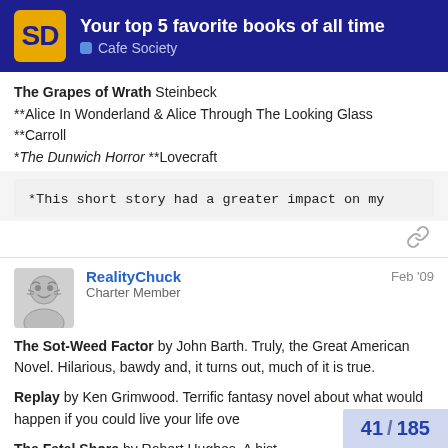Your top 5 favorite books of all time — Cafe Society
**The Grapes of Wrath** Steinbeck
**Alice In Wonderland & Alice Through The Looking Glass **Carroll
*The Dunwich Horror **Lovecraft
*This short story had a greater impact on my
RealityChuck — Charter Member — Feb '09
**The Sot-Weed Factor** by John Barth. Truly, the Great American Novel. Hilarious, bawdy and, it turns out, much of it is true.
**Replay** by Ken Grimwood. Terrific fantasy novel about what would happen if you could live your life ove
**The Fatal Shore** by Robert Hughes. A hist
41 / 185